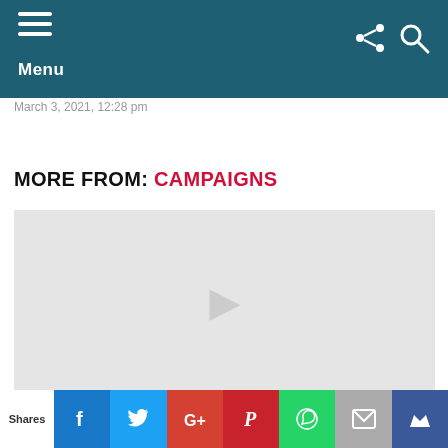Menu
March 3, 2021, 12:28 pm
MORE FROM: CAMPAIGNS
[Figure (photo): Gray placeholder image for a campaign article thumbnail]
Shares | Facebook | Twitter | Google+ | Pinterest | WhatsApp | Email | Crown